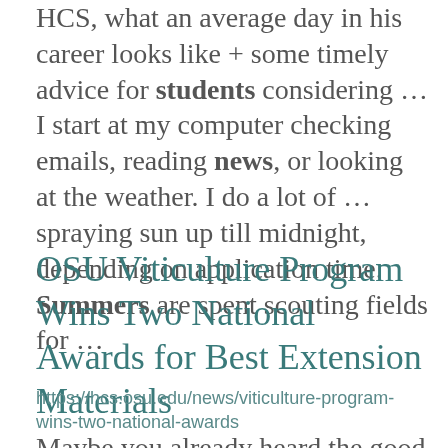HCS, what an average day in his career looks like + some timely advice for students considering ... I start at my computer checking emails, reading news, or looking at the weather. I do a lot of ... spraying sun up till midnight, depending on application time. Summers are spent scouting fields for ...
OSU Viticulture Program Wins Two National Awards for Best Extension Materials
https://hcs.osu.edu/news/viticulture-program-wins-two-national-awards
Maybe you already heard the good news